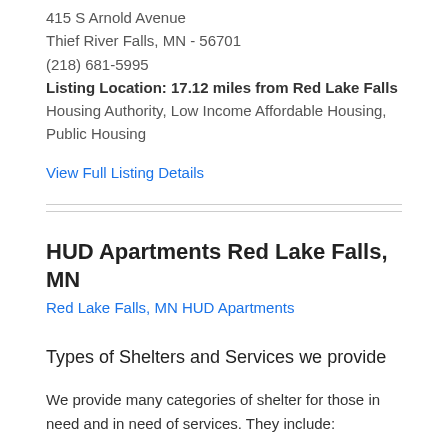415 S Arnold Avenue
Thief River Falls, MN - 56701
(218) 681-5995
Listing Location: 17.12 miles from Red Lake Falls
Housing Authority, Low Income Affordable Housing, Public Housing
View Full Listing Details
HUD Apartments Red Lake Falls, MN
Red Lake Falls, MN HUD Apartments
Types of Shelters and Services we provide
We provide many categories of shelter for those in need and in need of services. They include: